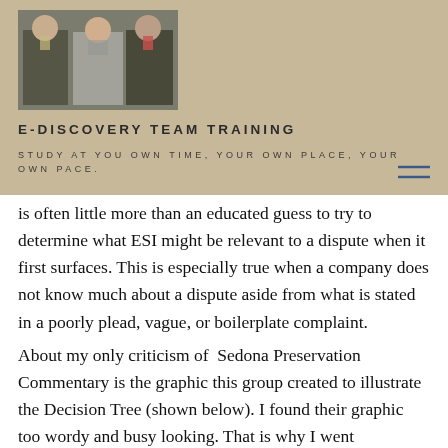[Figure (photo): Header photo showing three people (two men and a woman) at what appears to be a conference or panel setting]
E-DISCOVERY TEAM TRAINING
STUDY AT YOU OWN TIME, YOUR OWN PLACE, YOUR OWN PACE.
is often little more than an educated guess to try to determine what ESI might be relevant to a dispute when it first surfaces. This is especially true when a company does not know much about a dispute aside from what is stated in a poorly plead, vague, or boilerplate complaint.
About my only criticism of Sedona Preservation Commentary is the graphic this group created to illustrate the Decision Tree (shown below). I found their graphic too wordy and busy looking. That is why I went